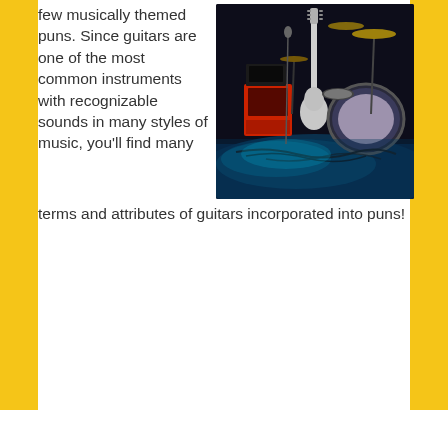few musically themed puns. Since guitars are one of the most common instruments with recognizable sounds in many styles of music, you'll find many terms and attributes of guitars incorporated into puns!
[Figure (photo): Concert stage setup photographed from a low angle showing an electric guitar leaning against equipment, drum kit with cymbals, amplifiers including a red one, cables on stage floor, lit with blue/teal stage lighting]